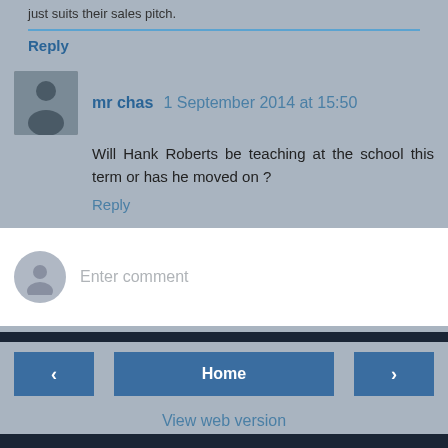just suits their sales pitch.
Reply
mr chas  1 September 2014 at 15:50
Will Hank Roberts be teaching at the school this term or has he moved on ?
Reply
Enter comment
Home
View web version
Powered by Blogger.